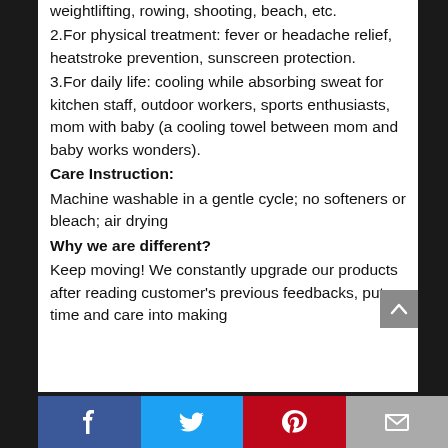weightlifting, rowing, shooting, beach, etc.
2.For physical treatment: fever or headache relief, heatstroke prevention, sunscreen protection.
3.For daily life: cooling while absorbing sweat for kitchen staff, outdoor workers, sports enthusiasts, mom with baby (a cooling towel between mom and baby works wonders).
Care Instruction:
Machine washable in a gentle cycle; no softeners or bleach; air drying
Why we are different?
Keep moving! We constantly upgrade our products after reading customer's previous feedbacks, put time and care into making